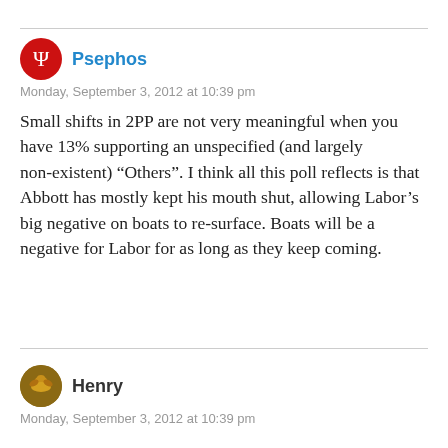Psephos
Monday, September 3, 2012 at 10:39 pm
Small shifts in 2PP are not very meaningful when you have 13% supporting an unspecified (and largely non-existent) “Others”. I think all this poll reflects is that Abbott has mostly kept his mouth shut, allowing Labor’s big negative on boats to re-surface. Boats will be a negative for Labor for as long as they keep coming.
Henry
Monday, September 3, 2012 at 10:39 pm